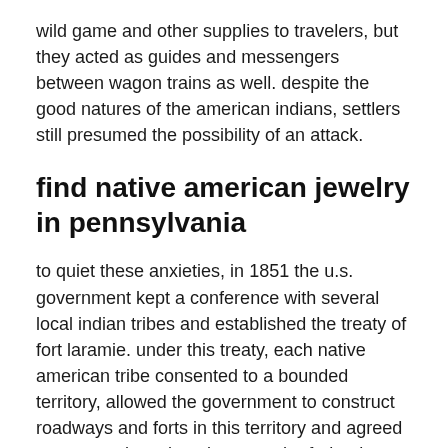wild game and other supplies to travelers, but they acted as guides and messengers between wagon trains as well. despite the good natures of the american indians, settlers still presumed the possibility of an attack.
find native american jewelry in pennsylvania
to quiet these anxieties, in 1851 the u.s. government kept a conference with several local indian tribes and established the treaty of fort laramie. under this treaty, each native american tribe consented to a bounded territory, allowed the government to construct roadways and forts in this territory and agreed not to attack settlers; in return the federal government agreed to